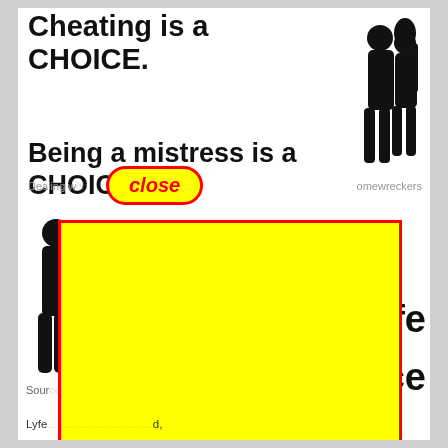[Figure (illustration): Screenshot of a social media post with bold text reading 'Cheating is a CHOICE. Being a mistress is a CHOICE.' with silhouette of couple kissing, a 'close' button overlay in yellow with red border, a large yellow rectangle blocking middle content, and partial text visible on right side ('fe', 'ce'). Source line and 'Lyfe' text partially visible at bottom.]
Cheating is a CHOICE.
Being a mistress is a CHOICE.
Dealing w[ith] [h]omewreckers
close
Sour[ce]
Lyfe[...] d,
would cheat his god. The rest cheat in europe